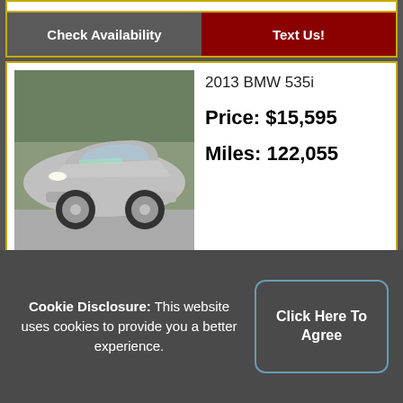[Figure (other): Top strip of a partially visible car listing card]
Check Availability	Text Us!
[Figure (photo): Silver 2013 BMW 535i sedan front three-quarter view in a parking lot]
2013 BMW 535i
Price: $15,595
Miles: 122,055
Check Availability	Text Us!
[Figure (photo): Silver 2013 Chevrolet Cruze sedan front three-quarter view in a parking lot]
2013 Chevrolet Cruze
Price: $7,895
Miles: 126,262
Cookie Disclosure: This website uses cookies to provide you a better experience.
Click Here To Agree